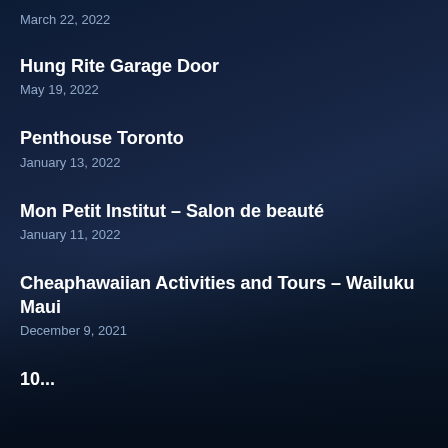March 22, 2022
Hung Rite Garage Door
May 19, 2022
Penthouse Toronto
January 13, 2022
Mon Petit Institut – Salon de beauté
January 11, 2022
Cheaphawaiian Activities and Tours – Wailuku Maui
December 9, 2021
10...